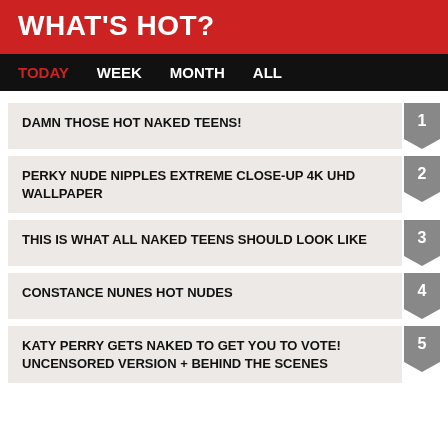WHAT'S HOT?
TODAY   WEEK   MONTH   ALL
DAMN THOSE HOT NAKED TEENS!
PERKY NUDE NIPPLES EXTREME CLOSE-UP 4K UHD WALLPAPER
THIS IS WHAT ALL NAKED TEENS SHOULD LOOK LIKE
CONSTANCE NUNES HOT NUDES
KATY PERRY GETS NAKED TO GET YOU TO VOTE! UNCENSORED VERSION + BEHIND THE SCENES